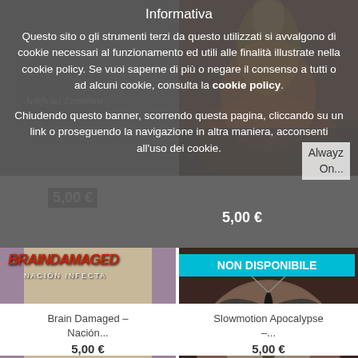Informativa
Questo sito o gli strumenti terzi da questo utilizzati si avvalgono di cookie necessari al funzionamento ed utili alle finalità illustrate nella cookie policy. Se vuoi saperne di più o negare il consenso a tutti o ad alcuni cookie, consulta la cookie policy.
Chiudendo questo banner, scorrendo questa pagina, cliccando su un link o proseguendo la navigazione in altra maniera, acconsenti all'uso dei cookie.
5,00 €
Alwayz On...
5,00 €
[Figure (photo): Album cover: Brain Damaged - Nación Infecta, band photo]
[Figure (photo): Album cover: Slowmotion Apocalypse - Mothra, moth over skull]
NON DISPONIBILE
Brain Damaged – Nación...
5,00 €
Slowmotion Apocalypse –...
5,00 €